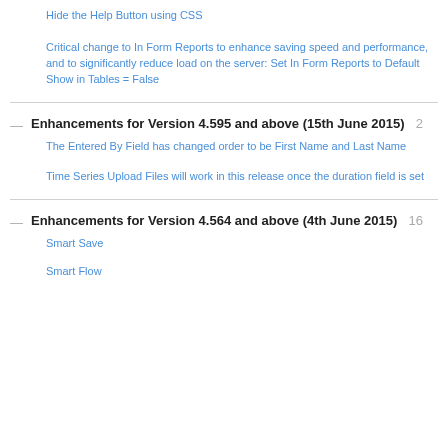Hide the Help Button using CSS
Critical change to In Form Reports to enhance saving speed and performance, and to significantly reduce load on the server: Set In Form Reports to Default Show in Tables = False
Enhancements for Version 4.595 and above (15th June 2015)  2
The Entered By Field has changed order to be First Name and Last Name
Time Series Upload Files will work in this release once the duration field is set
Enhancements for Version 4.564 and above (4th June 2015)  16
Smart Save
Smart Flow